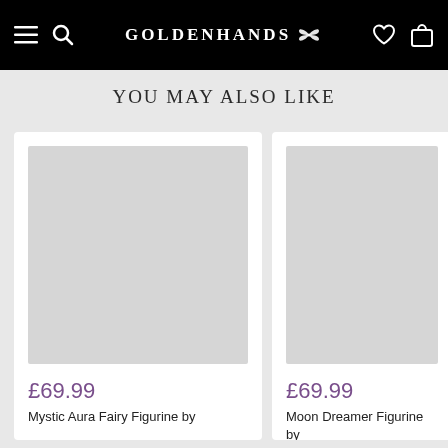GOLDENHANDS
YOU MAY ALSO LIKE
[Figure (screenshot): Product card image placeholder (grey rectangle) for Mystic Aura Fairy Figurine]
£69.99
Mystic Aura Fairy Figurine by
[Figure (screenshot): Product card image placeholder (grey rectangle) for Moon Dreamer Figurine]
£69.99
Moon Dreamer Figurine by